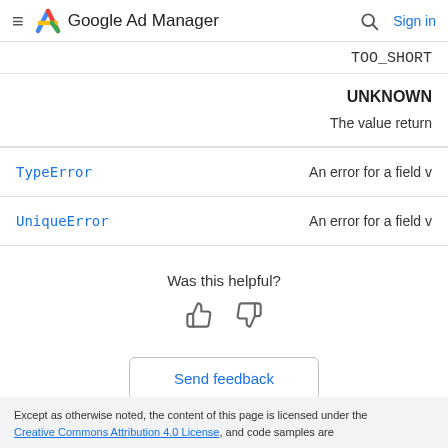Google Ad Manager  Sign in
TOO_SHORT
UNKNOWN
The value return
|  |  |
| --- | --- |
| TypeError | An error for a field v |
| UniqueError | An error for a field v |
Was this helpful?
Send feedback
Except as otherwise noted, the content of this page is licensed under the Creative Commons Attribution 4.0 License, and code samples are